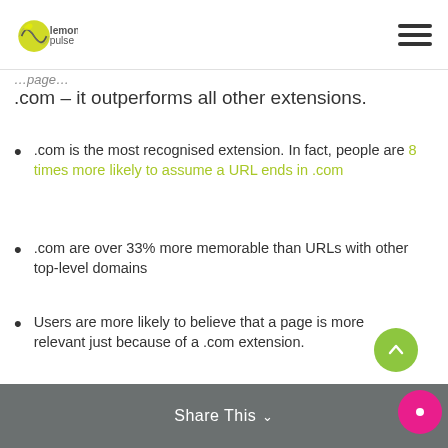lemon pulse
.com – it outperforms all other extensions.
.com is the most recognised extension. In fact, people are 8 times more likely to assume a URL ends in .com
.com are over 33% more memorable than URLs with other top-level domains
Users are more likely to believe that a page is more relevant just because of a .com extension.
Share This
There's another reason to choose a .com: it looks